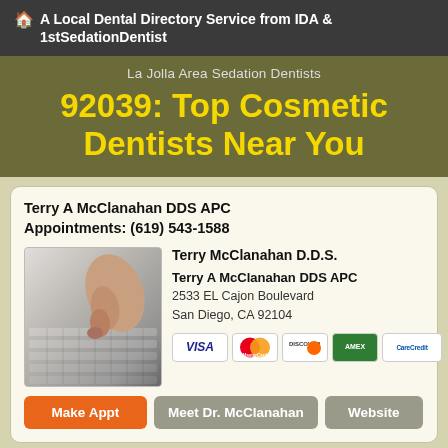🏠 A Local Dental Directory Service from IDA & 1stSedationDentist
La Jolla Area Sedation Dentists
92039: Top Cosmetic Dentists Near You
Terry A McClanahan DDS APC
Appointments: (619) 543-1588
[Figure (photo): Hand pressing keys on a telephone/keyboard]
Terry McClanahan D.D.S.
Terry A McClanahan DDS APC
2533 EL Cajon Boulevard
San Diego, CA 92104
[Figure (infographic): Payment method logos: VISA, MasterCard, Discover, AmEx, CareCredit]